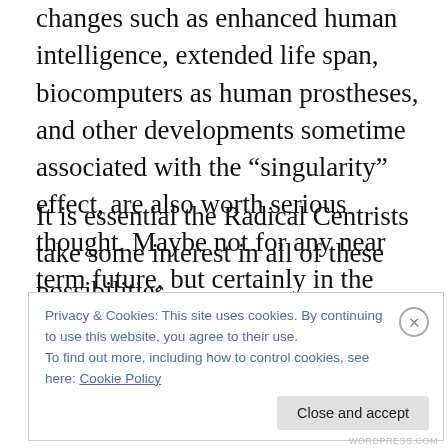changes such as enhanced human intelligence, extended life span, biocomputers as human prostheses, and other developments sometime associated with the “singularity” effect, are also worth serious thought. Maybe not for any near term future, but certainly in the coming decades.
It is essential the Radical Centrists take some interest in all of these possibilities because eventually there will be no choice but to take them very seriously,
Privacy & Cookies: This site uses cookies. By continuing to use this website, you agree to their use.
To find out more, including how to control cookies, see here: Cookie Policy
Close and accept
WORDPRESS.COM